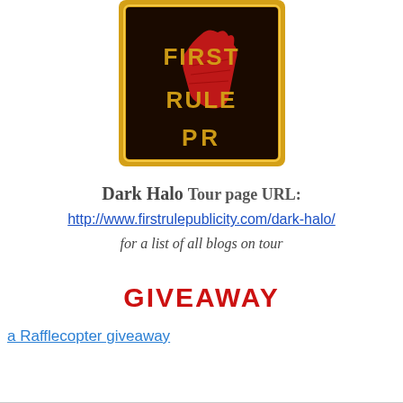[Figure (logo): First Rule PR logo: black square with gold border, red fist graphic, yellow/gold text reading FIRST RULE PR]
Dark Halo Tour page URL:
http://www.firstrulepublicity.com/dark-halo/
for a list of all blogs on tour
GIVEAWAY
a Rafflecopter giveaway